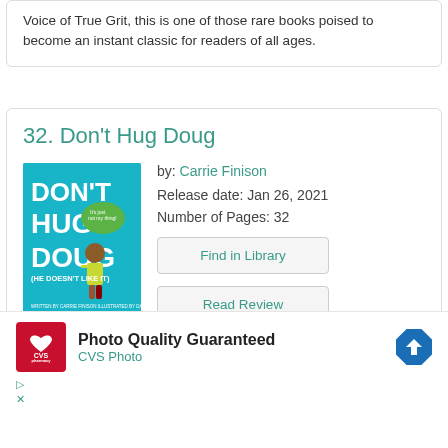Voice of True Grit, this is one of those rare books poised to become an instant classic for readers of all ages.
32. Don't Hug Doug
by: Carrie Finison
Release date: Jan 26, 2021
Number of Pages: 32
[Figure (illustration): Book cover of Don't Hug Doug (He Doesn't Like It) by Carrie Finison, showing a child with a speech bubble on a teal background]
Find in Library
Read Review
[Figure (other): CVS Pharmacy advertisement - Photo Quality Guaranteed, CVS Photo]